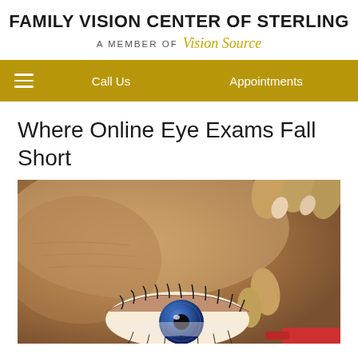FAMILY VISION CENTER OF STERLING — A MEMBER OF Vision Source
Where Online Eye Exams Fall Short
[Figure (photo): Close-up photograph of a person inserting or adjusting a contact lens in their eye, fingers pulling eyelid open revealing a blue iris]